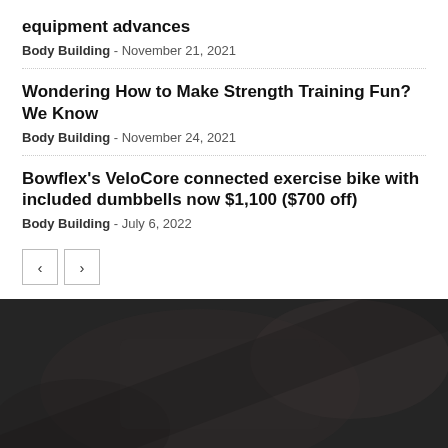equipment advances
Body Building - November 21, 2021
Wondering How to Make Strength Training Fun? We Know
Body Building - November 24, 2021
Bowflex's VeloCore connected exercise bike with included dumbbells now $1,100 ($700 off)
Body Building - July 6, 2022
[Figure (photo): Dark background image, appears to show a person or gym equipment in very low lighting with dark gray tones]